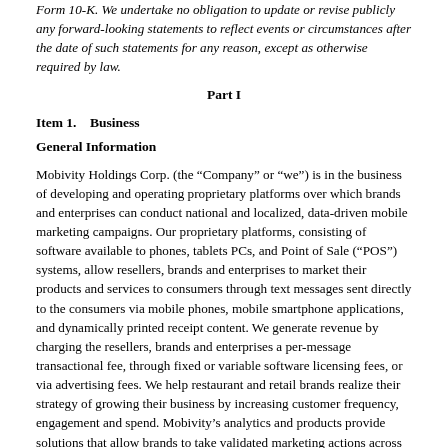Form 10-K. We undertake no obligation to update or revise publicly any forward-looking statements to reflect events or circumstances after the date of such statements for any reason, except as otherwise required by law.
Part I
Item 1.    Business
General Information
Mobivity Holdings Corp. (the “Company” or “we”) is in the business of developing and operating proprietary platforms over which brands and enterprises can conduct national and localized, data-driven mobile marketing campaigns. Our proprietary platforms, consisting of software available to phones, tablets PCs, and Point of Sale (“POS”) systems, allow resellers, brands and enterprises to market their products and services to consumers through text messages sent directly to the consumers via mobile phones, mobile smartphone applications, and dynamically printed receipt content. We generate revenue by charging the resellers, brands and enterprises a per-message transactional fee, through fixed or variable software licensing fees, or via advertising fees. We help restaurant and retail brands realize their strategy of growing their business by increasing customer frequency, engagement and spend. Mobivity’s analytics and products provide solutions that allow brands to take validated marketing actions across all channels, based on real customer